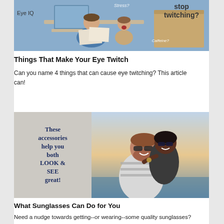[Figure (photo): Person at laptop with child, overlaid text reading 'stop twitching?' and 'Caffeine?' on what appears to be a cardboard box]
Eye IQ
Things That Make Your Eye Twitch
Can you name 4 things that can cause eye twitching? This article can!
[Figure (photo): Image split: left side tan/grey background with text 'These accessories help you both LOOK & SEE great!' in dark blue serif font; right side photo of couple at beach wearing sunglasses]
What Sunglasses Can Do for You
Need a nudge towards getting--or wearing--some quality sunglasses? Here you go!